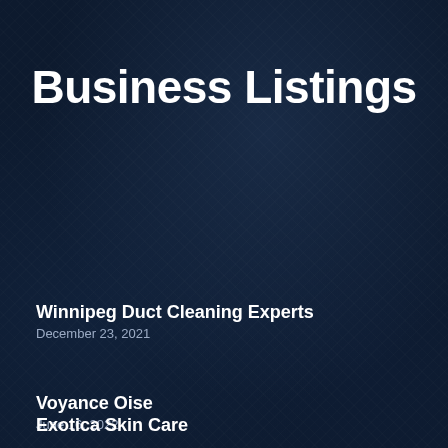Business Listings
Winnipeg Duct Cleaning Experts
December 23, 2021
Voyance Oise
June 16, 2022
417 Tree Service & Lawn
March 26, 2022
Exotica Skin Care